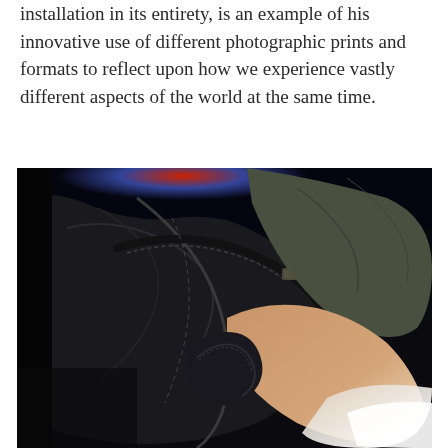installation in its entirety, is an example of his innovative use of different photographic prints and formats to reflect upon how we experience vastly different aspects of the world at the same time.
[Figure (photo): Close-up photograph of dark denim jeans fabric and seams, with a person's skin visible underneath, bright white light in lower right corner, blurred colorful background at top.]